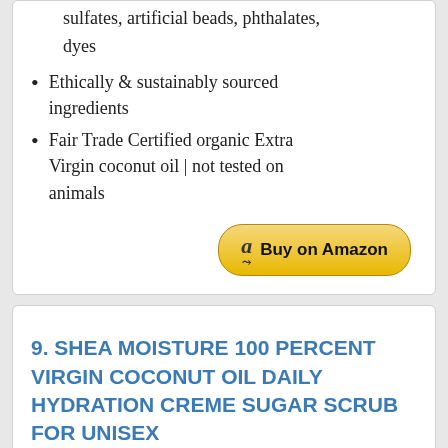sulfates, artificial beads, phthalates, dyes
Ethically & sustainably sourced ingredients
Fair Trade Certified organic Extra Virgin coconut oil | not tested on animals
[Figure (other): Buy on Amazon button with Amazon logo]
9. SHEA MOISTURE 100 PERCENT VIRGIN COCONUT OIL DAILY HYDRATION CREME SUGAR SCRUB FOR UNISEX